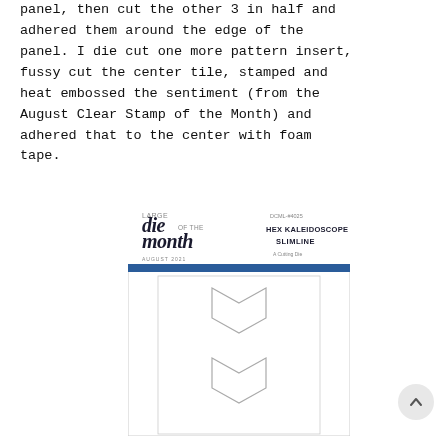panel, then cut the other 3 in half and adhered them around the edge of the panel. I die cut one more pattern insert, fussy cut the center tile, stamped and heat embossed the sentiment (from the August Clear Stamp of the Month) and adhered that to the center with foam tape.
[Figure (photo): Product packaging for 'Large Die of the Month' - Hex Kaleidoscope Slimline die set (DCML-#4025) showing a white package with blue stripe header, containing two hexagon-shaped cutting dies on a white card insert.]